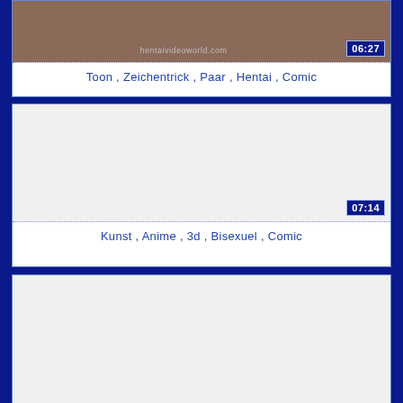[Figure (screenshot): Video thumbnail with dark brownish image, watermark 'hentaivideoworld.com', time badge '06:27']
Toon , Zeichentrick , Paar , Hentai , Comic
[Figure (screenshot): White/blank video thumbnail with time badge '07:14']
Kunst , Anime , 3d , Bisexuel , Comic
[Figure (screenshot): White/blank video thumbnail, partially visible]